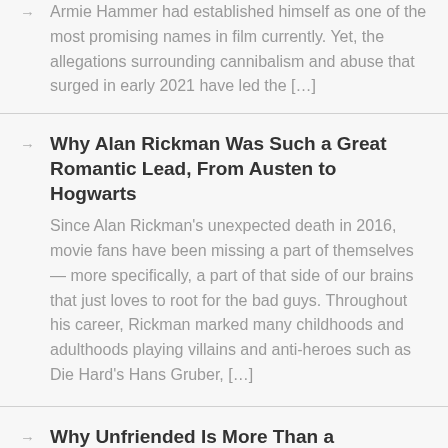Armie Hammer had established himself as one of the most promising names in film currently. Yet, the allegations surrounding cannibalism and abuse that surged in early 2021 have led the […]
Why Alan Rickman Was Such a Great Romantic Lead, From Austen to Hogwarts — Since Alan Rickman's unexpected death in 2016, movie fans have been missing a part of themselves — more specifically, a part of that side of our brains that just loves to root for the bad guys. Throughout his career, Rickman marked many childhoods and adulthoods playing villains and anti-heroes such as Die Hard's Hans Gruber, […]
Why Unfriended Is More Than a Supernatural Found Footage Gimmick — Remember Unfriended? The creepy and provocative horror film that brought the genre to the modern digital age by